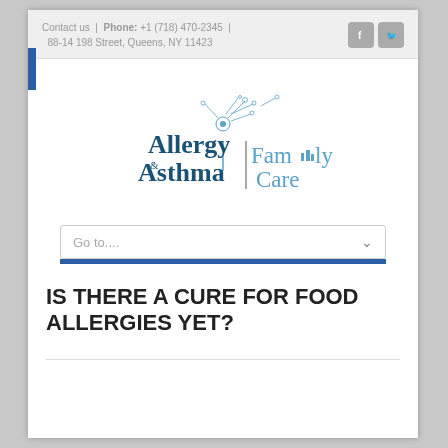Contact us  |  Phone: +1 (718) 470-2345  |  88-14 198 Street, Queens, NY 11423
[Figure (logo): Allergy & Asthma | Family Care logo with dandelion illustration]
Go to....
IS THERE A CURE FOR FOOD ALLERGIES YET?